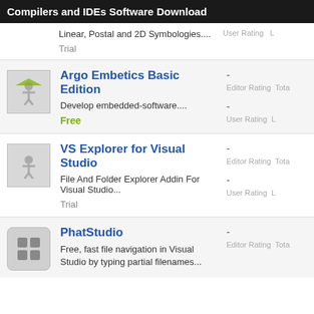Compilers and IDEs Software Download
Linear, Postal and 2D Symbologies....
Trial
User Rating
Argo Embetics Basic Edition - Develop embedded-software.... Free
VS Explorer for Visual Studio - File And Folder Explorer Addin For Visual Studio... Trial
PhatStudio - Free, fast file navigation in Visual Studio by typing partial filenames...